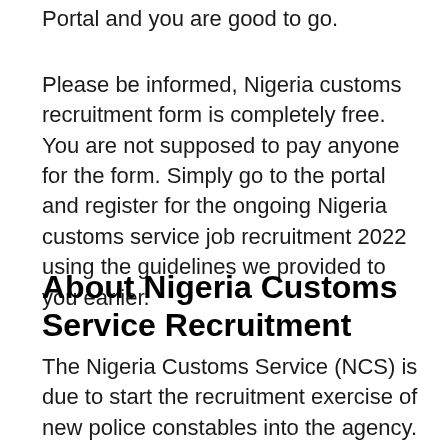Portal and you are good to go.
Please be informed, Nigeria customs recruitment form is completely free. You are not supposed to pay anyone for the form. Simply go to the portal and register for the ongoing Nigeria customs service job recruitment 2022 using the guidelines we provided to you earlier.
About Nigeria Customs Service Recruitment
The Nigeria Customs Service (NCS) is due to start the recruitment exercise of new police constables into the agency. Candidates or applicants who wish to be a part of NCS recruitment 2022